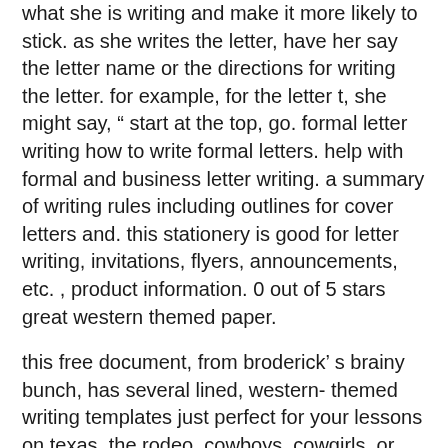what she is writing and make it more likely to stick. as she writes the letter, have her say the letter name or the directions for writing the letter. for example, for the letter t, she might say, " start at the top, go. formal letter writing how to write formal letters. help with formal and business letter writing. a summary of writing rules including outlines for cover letters and. this stationery is good for letter writing, invitations, flyers, announcements, etc. , product information. 0 out of 5 stars great western themed paper.
this free document, from broderick' s brainy bunch, has several lined, western- themed writing templates just perfect for your lessons on texas, the rodeo, cowboys, cowgirls, or other western- themed lessons. included are templates perfect for boys or girls and include full- page as well as partial pag. go ahead and make my day. and watch out for that cactus! wild west yeeehaw! connected scores on wat with choice of academic majors and careers ( daly & shamo, 1976, 1978), scores on self- concept and self- confidence measures ( daly, 1979), and performance on various assessments of writing skill and writing quality ( daly, 1978a, 1978b; daly & miller